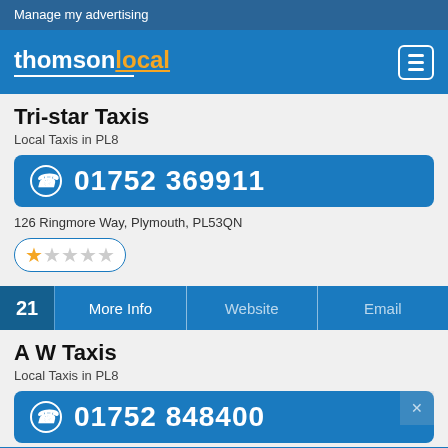Manage my advertising
[Figure (logo): Thomson Local logo with hamburger menu icon]
Tri-star Taxis
Local Taxis in PL8
01752 369911
126 Ringmore Way, Plymouth, PL53QN
★☆☆☆☆ (1 star rating)
21 | More Info | Website | Email
A W Taxis
Local Taxis in PL8
01752 848400
Did you know???